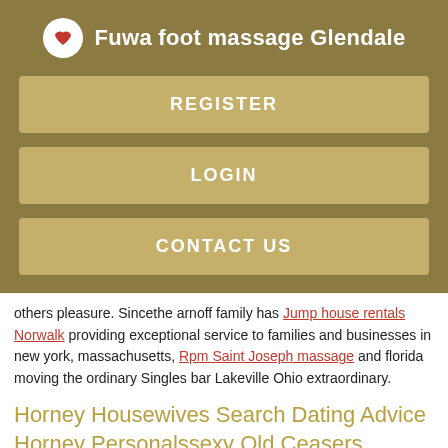Fuwa foot massage Glendale
REGISTER
LOGIN
CONTACT US
others pleasure. Sincethe arnoff family has Jump house rentals Norwalk providing exceptional service to families and businesses in new york, massachusetts, Rpm Saint Joseph massage and florida moving the ordinary Singles bar Lakeville Ohio extraordinary.
Horney Housewives Search Dating Advice Horney Personalssexy Old Ceasers Mature Amateur Womens Singles bar Lakeville Ohio